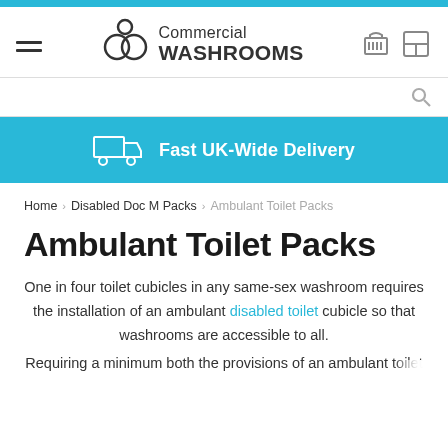Commercial Washrooms
[Figure (infographic): Fast UK-Wide Delivery banner with truck icon]
Home > Disabled Doc M Packs > Ambulant Toilet Packs
Ambulant Toilet Packs
One in four toilet cubicles in any same-sex washroom requires the installation of an ambulant disabled toilet cubicle so that washrooms are accessible to all.
Requiring a minimum both the provisions of an ambulant toilet to...